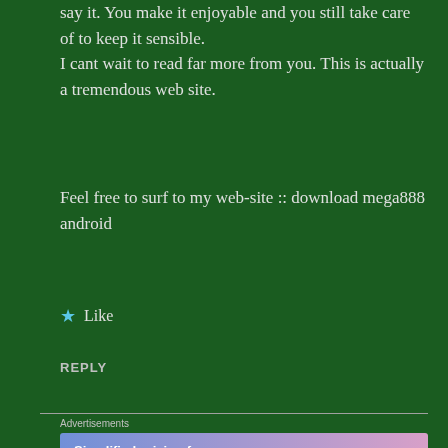say it. You make it enjoyable and you still take care of to keep it sensible.
I cant wait to read far more from you. This is actually a tremendous web site.
Feel free to surf to my web-site :: download mega888 android
★ Like
REPLY
Advertisements
[Figure (screenshot): WordPress.com advertisement banner with gradient background (blue to pink) showing 'Simplified pricing for everything you need.' with WordPress.com logo]